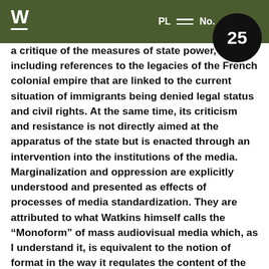W — PL — No. 25
a critique of the measures of state power, including references to the legacies of the French colonial empire that are linked to the current situation of immigrants being denied legal status and civil rights. At the same time, its criticism and resistance is not directly aimed at the apparatus of the state but is enacted through an intervention into the institutions of the media. Marginalization and oppression are explicitly understood and presented as effects of processes of media standardization. They are attributed to what Watkins himself calls the “Monoform” of mass audiovisual media which, as I understand it, is equivalent to the notion of format in the way it regulates the content of the media, as well as its institutionalized practices and technologies of production and distribution.30 Formats are